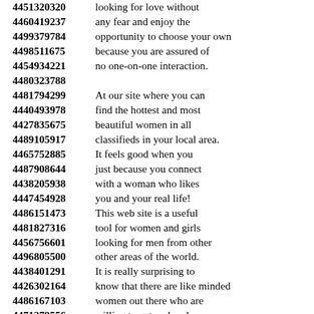4451320320 looking for love without
4460419237 any fear and enjoy the
4499379784 opportunity to choose your own
4498511675 because you are assured of
4454934221 no one-on-one interaction.
4480323788
4481794299 At our site where you can
4440493978 find the hottest and most
4427835675 beautiful women in all
4489105917 classifieds in your local area.
4465752885 It feels good when you
4487908644 just because you connect
4438205938 with a woman who likes
4447454928 you and your real life!
4486151473 This web site is a useful
4481827316 tool for women and girls
4456756601 looking for men from other
4496805500 other areas of the world.
4438401291 It is really surprising to
4426302164 know that there are like minded
4486167103 women out there who are
4471279556 willing to get real and
4495135969 sensual pleasure through
4425793967 online chat messenger.
4470486651 There is no way to keep
4445843806 having fun talking with